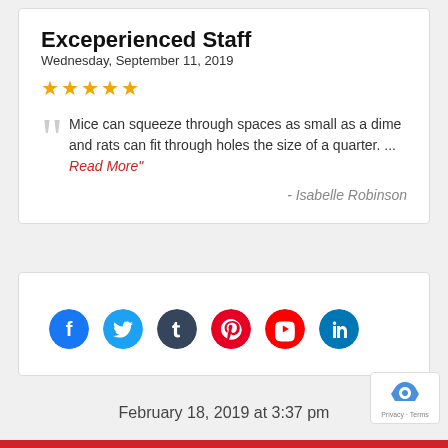Exceperienced Staff
Wednesday, September 11, 2019
★★★★★
Mice can squeeze through spaces as small as a dime and rats can fit through holes the size of a quarter. ... Read More"
- Isabelle Robinson
[Figure (infographic): Social media icons: Facebook, Twitter, Tumblr, Pinterest, YouTube, LinkedIn]
February 18, 2019 at 3:37 pm